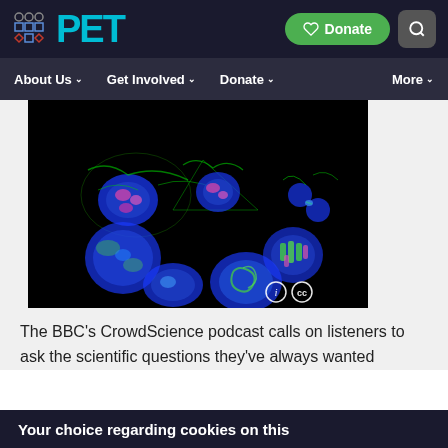PET — Donate — Search
About Us | Get Involved | Donate | More
[Figure (photo): Fluorescence microscopy image of cells in various stages of mitosis, showing blue nuclei with green and pink/magenta chromosomal structures on a black background. An info (i) and Creative Commons (cc) icon appear in the lower right corner.]
The BBC's CrowdScience podcast calls on listeners to ask the scientific questions they've always wanted
Your choice regarding cookies on this